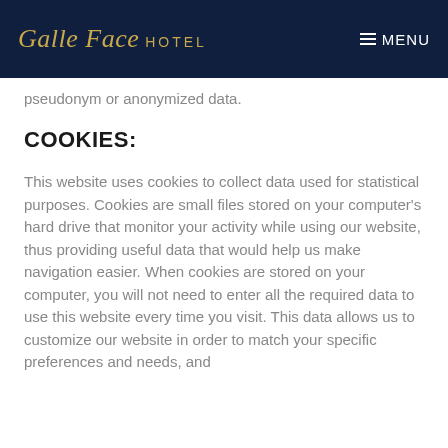[Figure (logo): Galle Face Hotel logo with script text 'Galle Face' in gold italic and 'HOTEL' in gold caps, on dark navy background, with hamburger menu icon and 'MENU' text on the right]
pseudonym or anonymized data.
COOKIES:
This website uses cookies to collect data used for statistical purposes. Cookies are small files stored on your computer's hard drive that monitor your activity while using our website, thus providing useful data that would help us make navigation easier. When cookies are stored on your computer, you will not need to enter all the required data to use this website every time you visit. This data allows us to customize our website in order to match your specific preferences and needs, and